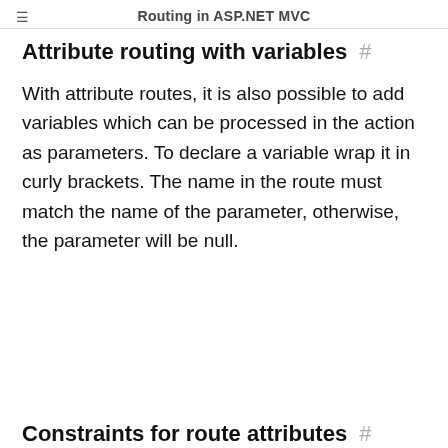Routing in ASP.NET MVC
Attribute routing with variables #
With attribute routes, it is also possible to add variables which can be processed in the action as parameters. To declare a variable wrap it in curly brackets. The name in the route must match the name of the parameter, otherwise, the parameter will be null.
Constraints for route attributes #